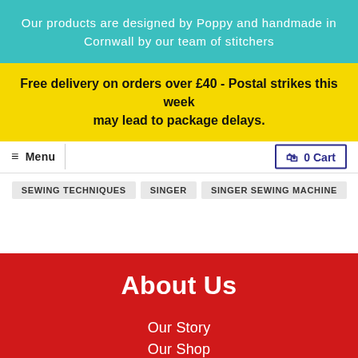Our products are designed by Poppy and handmade in Cornwall by our team of stitchers
Free delivery on orders over £40 - Postal strikes this week may lead to package delays.
≡ Menu
0 Cart
SEWING TECHNIQUES
SINGER
SINGER SEWING MACHINE
About Us
Our Story
Our Shop